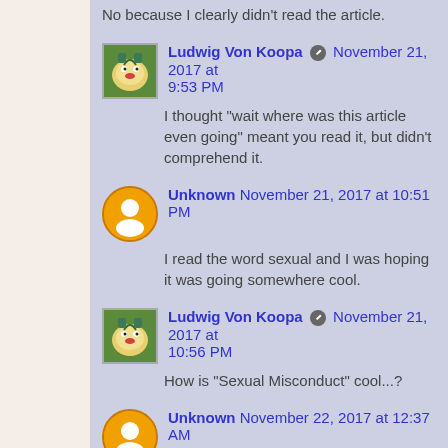No because I clearly didn't read the article.
Ludwig Von Koopa November 21, 2017 at 9:53 PM
I thought "wait where was this article even going" meant you read it, but didn't comprehend it.
Unknown November 21, 2017 at 10:51 PM
I read the word sexual and I was hoping it was going somewhere cool.
Ludwig Von Koopa November 21, 2017 at 10:56 PM
How is "Sexual Misconduct" cool...?
Unknown November 22, 2017 at 12:37 AM